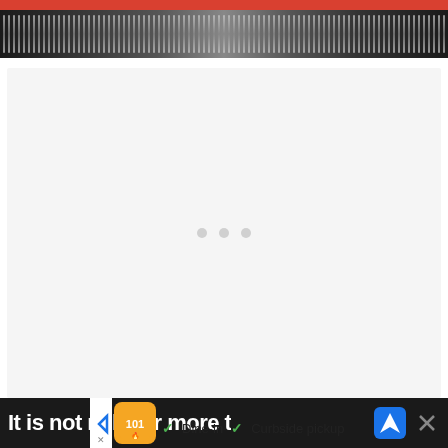[Figure (photo): Top portion of a webpage showing a dark header image with a red bar at the top, appearing to show industrial or automotive machinery (grill/engine detail). Below is a large light gray content area with a loading indicator (three dots). At the bottom is a dark navigation bar with white bold text partially visible, and an advertisement banner overlay showing a restaurant ad with 'Dine-in' and 'Curbside pickup' options, plus navigation and close icons.]